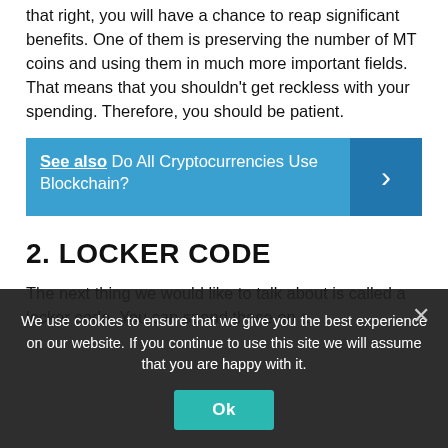that right, you will have a chance to reap significant benefits. One of them is preserving the number of MT coins and using them in much more important fields. That means that you shouldn't get reckless with your spending. Therefore, you should be patient.
See also  Do All Cryptocurrencies Use Blockchain?
2. LOCKER CODE
The next thing we would like to talk about is called a locker code. You can spend these on a
We use cookies to ensure that we give you the best experience on our website. If you continue to use this site we will assume that you are happy with it.